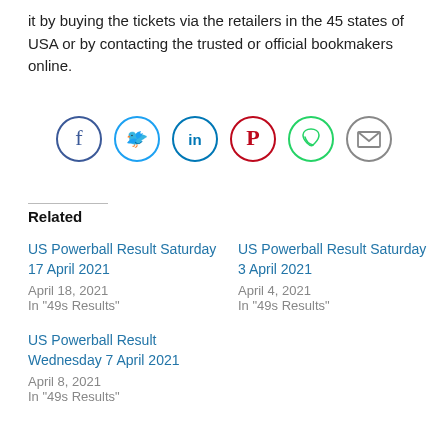it by buying the tickets via the retailers in the 45 states of USA or by contacting the trusted or official bookmakers online.
[Figure (infographic): Row of six social media share icons: Facebook (dark blue circle), Twitter (light blue circle), LinkedIn (teal circle), Pinterest (red circle), WhatsApp (green circle), Email/envelope (gray circle)]
Related
US Powerball Result Saturday 17 April 2021
April 18, 2021
In "49s Results"
US Powerball Result Saturday 3 April 2021
April 4, 2021
In "49s Results"
US Powerball Result Wednesday 7 April 2021
April 8, 2021
In "49s Results"